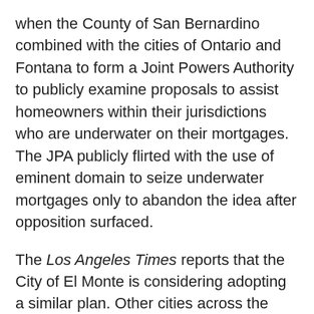when the County of San Bernardino combined with the cities of Ontario and Fontana to form a Joint Powers Authority to publicly examine proposals to assist homeowners within their jurisdictions who are underwater on their mortgages. The JPA publicly flirted with the use of eminent domain to seize underwater mortgages only to abandon the idea after opposition surfaced.
The Los Angeles Times reports that the City of El Monte is considering adopting a similar plan. Other cities across the country and throughout California, including La Puente, near El Monte, and Orange Cove and San Joaquin in Fresno County, are reportedly doing the same.
Continue reading